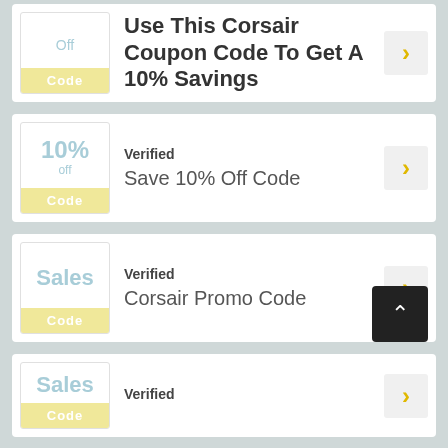Use This Corsair Coupon Code To Get A 10% Savings
Verified - Save 10% Off Code
Verified - Corsair Promo Code
Verified